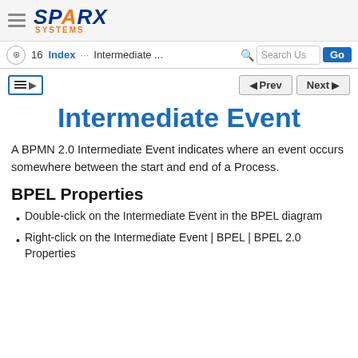SPARX SYSTEMS
16  Index  ...  Intermediate ...  Search Use  Go
Prev  Next
Intermediate Event
A BPMN 2.0 Intermediate Event indicates where an event occurs somewhere between the start and end of a Process.
BPEL Properties
Double-click on the Intermediate Event in the BPEL diagram
Right-click on the Intermediate Event | BPEL | BPEL 2.0 Properties